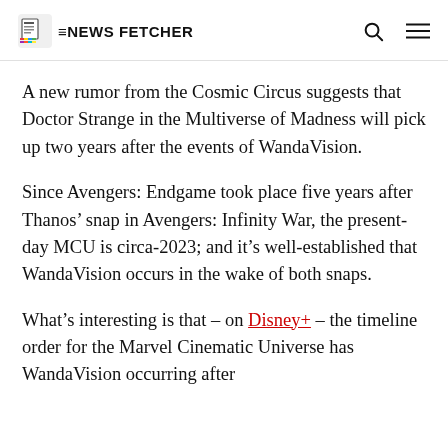THE NEWS FETCHER
A new rumor from the Cosmic Circus suggests that Doctor Strange in the Multiverse of Madness will pick up two years after the events of WandaVision.
Since Avengers: Endgame took place five years after Thanos’ snap in Avengers: Infinity War, the present-day MCU is circa-2023; and it’s well-established that WandaVision occurs in the wake of both snaps.
What’s interesting is that – on Disney+ – the timeline order for the Marvel Cinematic Universe has WandaVision occurring after